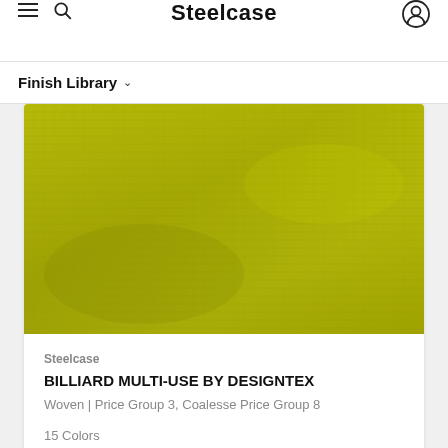Steelcase
Finish Library
[Figure (photo): Close-up texture of a yellow-green woven fabric swatch called Billiard Multi-Use by Designtex]
Steelcase
BILLIARD MULTI-USE BY DESIGNTEX
Woven | Price Group 3, Coalesse Price Group 8
15 Colors